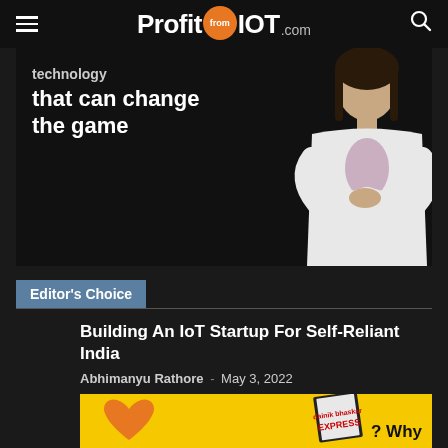ProfitfromIOT.com
[Figure (photo): Hero banner with dark background showing text 'technology that can change the game' and a woman in white blazer with arms crossed]
Editor's Choice
Building An IoT Startup For Self-Reliant India
Abhimanyu Rathore - May 3, 2022
[Figure (photo): Yellow advertisement banner with orange heart and Express magazine logo, partial text '? Why']